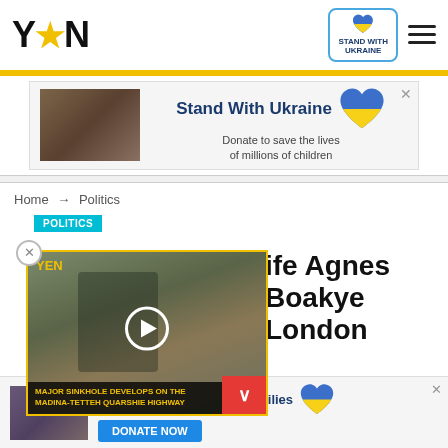YEN | STAND WITH UKRAINE
[Figure (screenshot): Stand With Ukraine advertisement banner with child image and Ukraine heart logo]
Home → Politics
POLITICS
[Figure (screenshot): YEN video overlay showing reporter on road with text: MAJOR SINKHOLE DEVELOPS ON THE MADINA-TETTEH QUARSHIE HIGHWAY]
...ife Agnes Boakye... London
[Figure (screenshot): Help Protect Ukrainian Families - DONATE NOW advertisement at bottom]